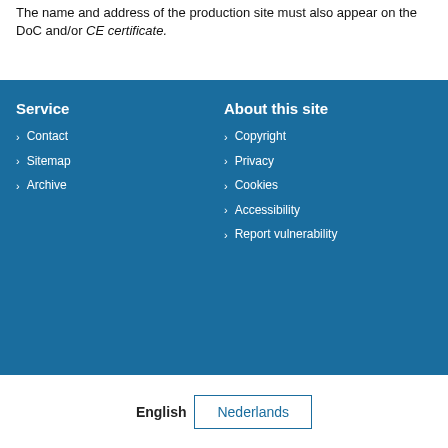The name and address of the production site must also appear on the DoC and/or CE certificate.
Service
Contact
Sitemap
Archive
About this site
Copyright
Privacy
Cookies
Accessibility
Report vulnerability
English   Nederlands